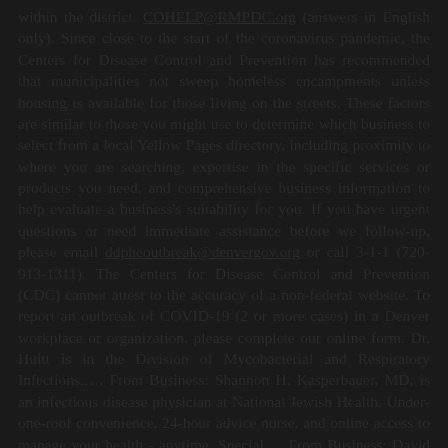within the district. COHELP@RMPDC.org (answers in English only). Since close to the start of the coronavirus pandemic, the Centers for Disease Control and Prevention has recommended that municipalities not sweep homeless encampments unless housing is available for those living on the streets. These factors are similar to those you might use to determine which business to select from a local Yellow Pages directory, including proximity to where you are searching, expertise in the specific services or products you need, and comprehensive business information to help evaluate a business's suitability for you. If you have urgent questions or need immediate assistance before we follow-up, please email ddpheoutbreak@denvergov.org or call 3-1-1 (720-913-1311). The Centers for Disease Control and Prevention (CDC) cannot attest to the accuracy of a non-federal website. To report an outbreak of COVID-19 (2 or more cases) in a Denver workplace or organization, please complete our online form. Dr. Huitt is in the Division of Mycobacterial and Respiratory Infections.…, From Business: Shannon H. Kasperbauer, MD, is an infectious disease physician at National Jewish Health. Under-one-roof convenience, 24-hour advice nurse, and online access to manage your health - anytime. Special…, From Business: David E. Griffith, MD, is a pulmonologist at National Jewish Health.
"Clearing encampments can cause people to disperse throughout the community and break connections with service providers,